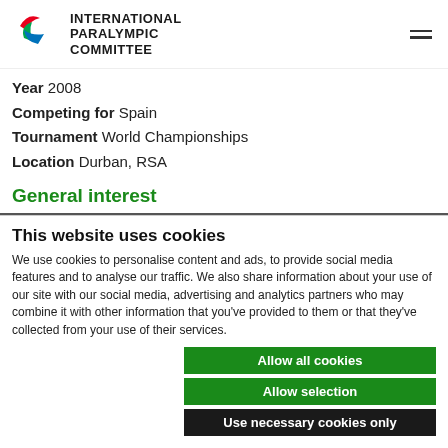INTERNATIONAL PARALYMPIC COMMITTEE
Year 2008
Competing for Spain
Tournament World Championships
Location Durban, RSA
General interest
This website uses cookies
We use cookies to personalise content and ads, to provide social media features and to analyse our traffic. We also share information about your use of our site with our social media, advertising and analytics partners who may combine it with other information that you've provided to them or that they've collected from your use of their services.
Allow all cookies
Allow selection
Use necessary cookies only
Necessary  Preferences  Statistics  Marketing  Show details